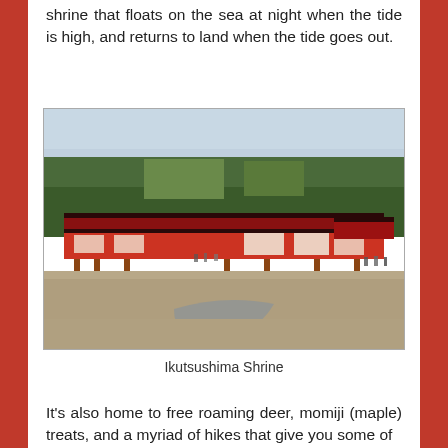shrine that floats on the sea at night when the tide is high, and returns to land when the tide goes out.
[Figure (photo): Photograph of Ikutsushima Shrine viewed from the beach at low tide, with forested mountains in the background. Red-painted shrine buildings are visible in the middle ground, and sandy beach with tidal water channels in the foreground.]
Ikutsushima Shrine
It's also home to free roaming deer, momiji (maple) treats, and a myriad of hikes that give you some of